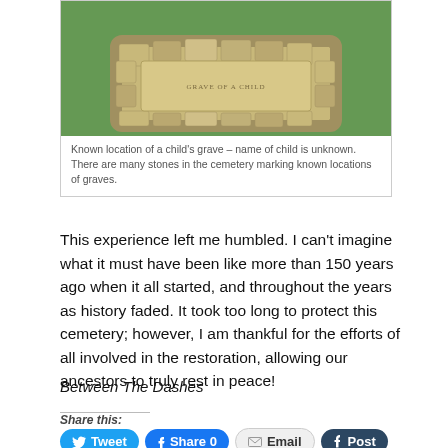[Figure (photo): Photograph of a flat stone grave marker surrounded by other stones in a grassy cemetery. The stone reads 'GRAVE OF A CHILD'.]
Known location of a child's grave – name of child is unknown.  There are many stones in the cemetery marking known locations of graves.
This experience left me humbled.  I can't imagine what it must have been like more than 150 years ago when it all started, and throughout the years as history faded.  It took too long to protect this cemetery; however, I am thankful for the efforts of all involved in the restoration, allowing our ancestors to truly rest in peace!
Between The Dashes
Share this:
Tweet | Share 0 | Email | Post